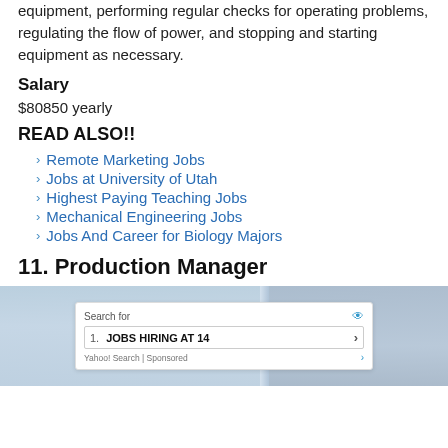equipment, performing regular checks for operating problems, regulating the flow of power, and stopping and starting equipment as necessary.
Salary
$80850 yearly
READ ALSO!!
Remote Marketing Jobs
Jobs at University of Utah
Highest Paying Teaching Jobs
Mechanical Engineering Jobs
Jobs And Career for Biology Majors
11. Production Manager
[Figure (screenshot): A photo of an industrial facility with an overlaid advertisement box reading 'Search for' with an eye icon, listing '1. JOBS HIRING AT 14' with a right arrow, and footer 'Yahoo! Search | Sponsored' with an arrow icon.]